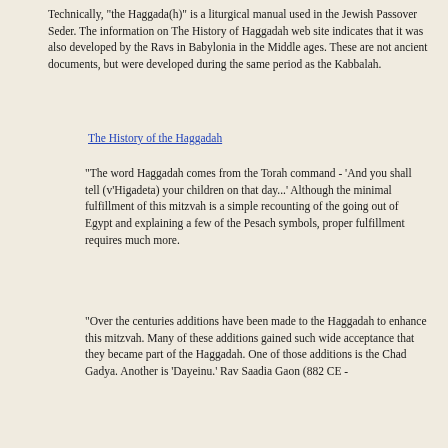Technically, "the Haggada(h)" is a liturgical manual used in the Jewish Passover Seder. The information on The History of Haggadah web site indicates that it was also developed by the Ravs in Babylonia in the Middle ages. These are not ancient documents, but were developed during the same period as the Kabbalah.
The History of the Haggadah
"The word Haggadah comes from the Torah command - 'And you shall tell (v'Higadeta) your children on that day...' Although the minimal fulfillment of this mitzvah is a simple recounting of the going out of Egypt and explaining a few of the Pesach symbols, proper fulfillment requires much more.
"Over the centuries additions have been made to the Haggadah to enhance this mitzvah. Many of these additions gained such wide acceptance that they became part of the Haggadah. One of those additions is the Chad Gadya. Another is 'Dayeinu.' Rav Saadia Gaon (882 CE -